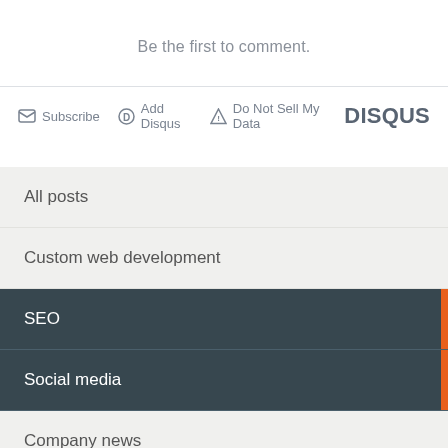Be the first to comment.
Subscribe  Add Disqus  Do Not Sell My Data  DISQUS
All posts
Custom web development
SEO
Social media
Company news
Hi-tech know-how